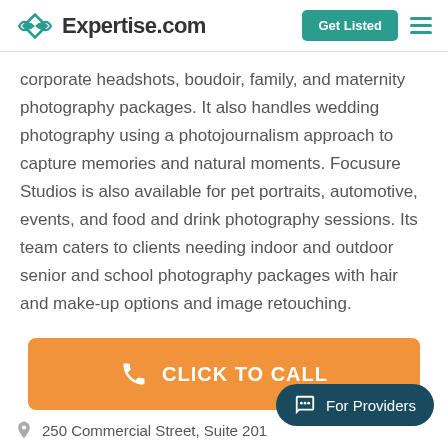Expertise.com | Get Listed
corporate headshots, boudoir, family, and maternity photography packages. It also handles wedding photography using a photojournalism approach to capture memories and natural moments. Focusure Studios is also available for pet portraits, automotive, events, and food and drink photography sessions. Its team caters to clients needing indoor and outdoor senior and school photography packages with hair and make-up options and image retouching.
CLICK TO CALL
For Providers
250 Commercial Street, Suite 201...